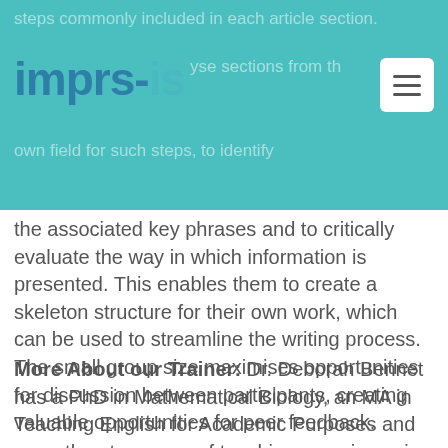steps commonly included in each article section. imprs-is [logo]. analyse sections from the own field for such steps, to identify
the associated key phrases and to critically evaluate the way in which information is presented. This enables them to create a skeleton structure for their own work, which can be used to streamline the writing process. The small group size maximises opportunities for discussion between participants, creating valuable opportunities for peer feedback.
More About our Trainer: Dr. Deborah Bennet has a PhD in Mathematical Biology, an MA in Teaching English for Academic Purposes and more than ten years of teaching experience in a wide range of teaching contexts. Since